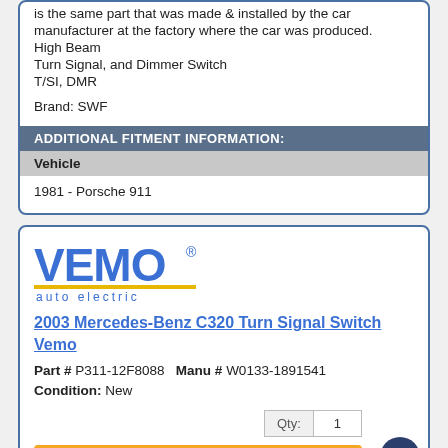is the same part that was made & installed by the car manufacturer at the factory where the car was produced. High Beam Turn Signal, and Dimmer Switch T/SI, DMR Brand: SWF
| ADDITIONAL FITMENT INFORMATION: |
| --- |
| Vehicle |
| 1981 - Porsche 911 |
[Figure (logo): VEMO auto electric logo with bold blue VEMO text, yellow underbar, and blue spaced 'auto electric' text below]
2003 Mercedes-Benz C320 Turn Signal Switch Vemo
Part # P311-12F8088   Manu # W0133-1891541
Condition: New
Qty: 1